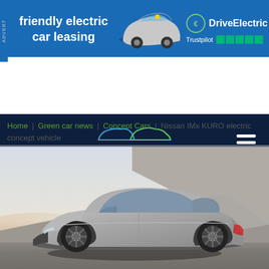[Figure (screenshot): Advertisement banner for DriveElectric car leasing, blue background with MINI electric car image, Trustpilot 5-star rating, text: friendly electric car leasing, DriveElectric]
[Figure (logo): GreenCarGuide website navigation header with dark navy background, car silhouette logo, GreenCarGuide text, hamburger menu icon]
Home | Green car news | Concept Cars | Nissan IMx KURO electric concept vehicle
[Figure (photo): Nissan IMx KURO electric concept vehicle shown in profile view, silver/grey futuristic SUV coupe on concrete architectural background with warm sunset lighting]